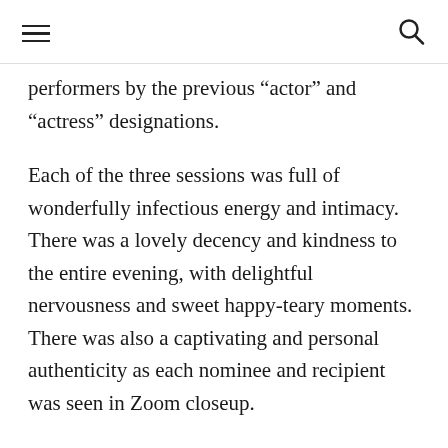[hamburger menu] [search icon]
performers by the previous “actor” and “actress” designations.
Each of the three sessions was full of wonderfully infectious energy and intimacy. There was a lovely decency and kindness to the entire evening, with delightful nervousness and sweet happy-teary moments. There was also a captivating and personal authenticity as each nominee and recipient was seen in Zoom closeup.
Among the highlights of the evening were Moriamo TẹmíayọAkibu’s exultant acceptance speech for their